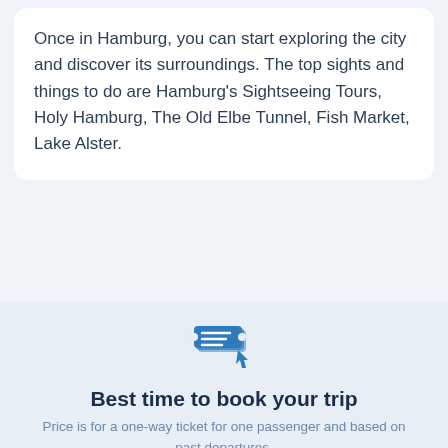Once in Hamburg, you can start exploring the city and discover its surroundings. The top sights and things to do are Hamburg's Sightseeing Tours, Holy Hamburg, The Old Elbe Tunnel, Fish Market, Lake Alster.
[Figure (illustration): Blue icon of stacked tickets with a cursor arrow pointing at them]
Best time to book your trip
Price is for a one-way ticket for one passenger and based on past departures.
DAYS BEFORE DEPARTURE
-89   -60   -31   -15